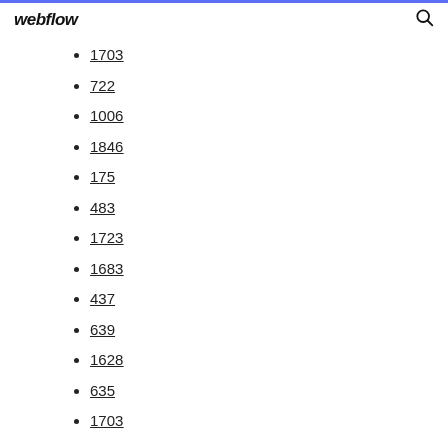webflow
1703
722
1006
1846
175
483
1723
1683
437
639
1628
635
1703